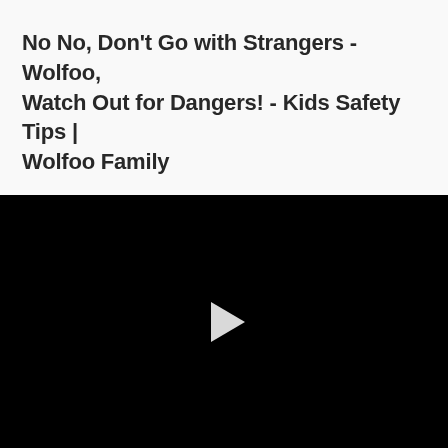No No, Don't Go with Strangers - Wolfoo, Watch Out for Dangers! - Kids Safety Tips | Wolfoo Family
[Figure (screenshot): Black video player thumbnail with a white play button triangle in the center]